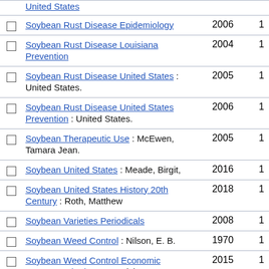United States
Soybean Rust Disease Epidemiology  2006  1
Soybean Rust Disease Louisiana Prevention  2004  1
Soybean Rust Disease United States : United States.  2005  1
Soybean Rust Disease United States Prevention : United States.  2006  1
Soybean Therapeutic Use : McEwen, Tamara Jean.  2005  1
Soybean United States : Meade, Birgit,  2016  1
Soybean United States History 20th Century : Roth, Matthew  2018  1
Soybean Varieties Periodicals  2008  1
Soybean Weed Control : Nilson, E. B.  1970  1
Soybean Weed Control Economic Aspects United States : Livingston, Michael J.  2015  1